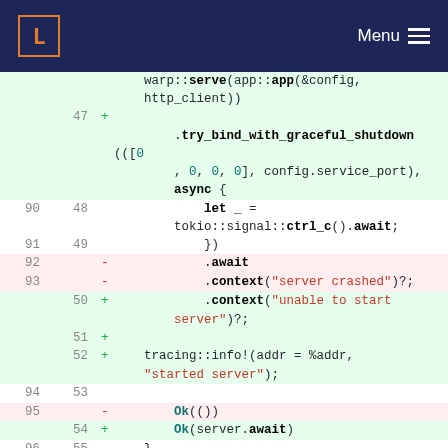L  Menu
[Figure (screenshot): Code diff view showing Rust code changes. Lines 47-55 shown with additions (+) in green and removals (-) in red. Context lines 90-96 also shown.]